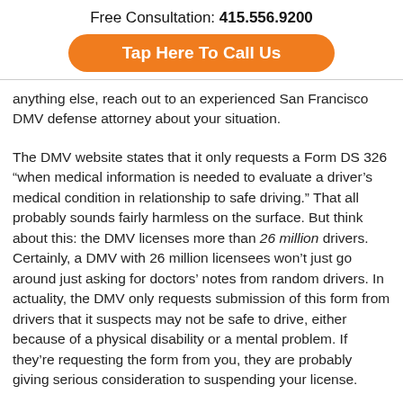Free Consultation: 415.556.9200
[Figure (other): Orange rounded button with white bold text 'Tap Here To Call Us']
anything else, reach out to an experienced San Francisco DMV defense attorney about your situation.
The DMV website states that it only requests a Form DS 326 “when medical information is needed to evaluate a driver’s medical condition in relationship to safe driving.” That all probably sounds fairly harmless on the surface. But think about this: the DMV licenses more than 26 million drivers. Certainly, a DMV with 26 million licensees won’t just go around just asking for doctors’ notes from random drivers. In actuality, the DMV only requests submission of this form from drivers that it suspects may not be safe to drive, either because of a physical disability or a mental problem. If they’re requesting the form from you, they are probably giving serious consideration to suspending your license.